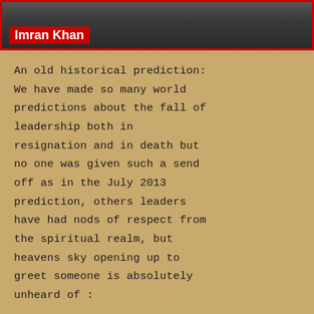[Figure (photo): Photo of Imran Khan — dark/shadowed image with a red border. A red label reading 'Imran Khan' appears at the bottom left of the photo.]
An old historical prediction: We have made so many world predictions about the fall of leadership both in resignation and in death but no one was given such a send off as in the July 2013 prediction, others leaders have had nods of respect from the spiritual realm, but heavens sky opening up to greet someone is absolutely unheard of :